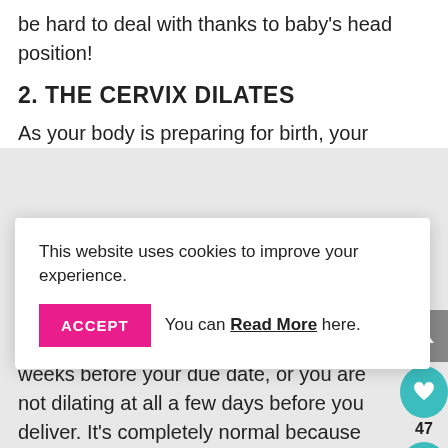be hard to deal with thanks to baby's head position!
2. THE CERVIX DILATES
As your body is preparing for birth, your cervix will also start to efface (turn from a
This website uses cookies to improve your experience.
ACCEPT  You can Read More here.
your doctor will measure the dilation by internal exams. Don't worry if it happens weeks before your due date, or you are not dilating at all a few days before you deliver. It's completely normal because everyone has different progress. Therefore, the dilation